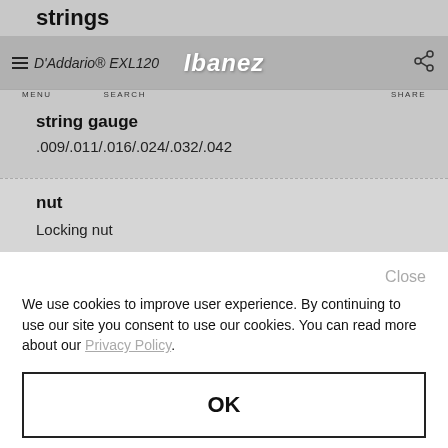strings
D'Addario® EXL120
MENU  SEARCH  Ibanez  SHARE
string gauge
.009/.011/.016/.024/.032/.042
nut
Locking nut
Close
We use cookies to improve user experience. By continuing to use our site you consent to use our cookies. You can read more about our Privacy Policy.
OK